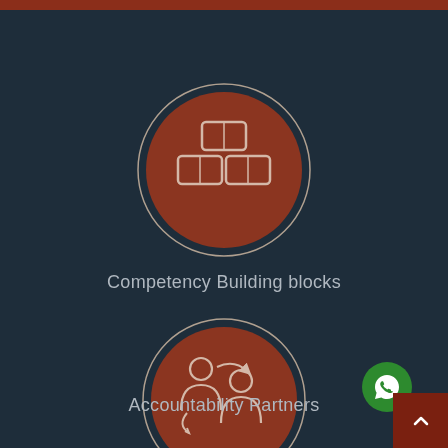[Figure (illustration): Dark teal background with red top bar accent stripe]
[Figure (illustration): Circular icon with brown/rust background showing building blocks stacked in a pyramid, outlined in light grey ring]
Competency Building blocks
[Figure (illustration): Circular icon with brown/rust background showing two people figures with an arrow between them, outlined in light grey ring, representing accountability partners]
Accountability Partners